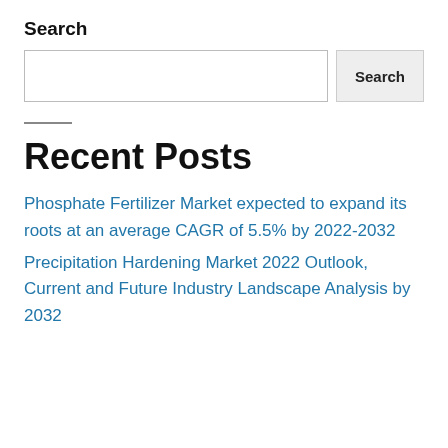Search
[Search input box and Search button]
Recent Posts
Phosphate Fertilizer Market expected to expand its roots at an average CAGR of 5.5% by 2022-2032
Precipitation Hardening Market 2022 Outlook, Current and Future Industry Landscape Analysis by 2032